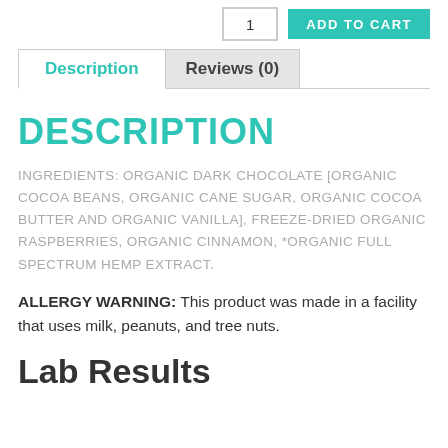Description | Reviews (0)
DESCRIPTION
INGREDIENTS: ORGANIC DARK CHOCOLATE [ORGANIC COCOA BEANS, ORGANIC CANE SUGAR, ORGANIC COCOA BUTTER AND ORGANIC VANILLA], FREEZE-DRIED ORGANIC RASPBERRIES, ORGANIC CINNAMON, *ORGANIC FULL SPECTRUM HEMP EXTRACT.
ALLERGY WARNING: This product was made in a facility that uses milk, peanuts, and tree nuts.
Lab Results